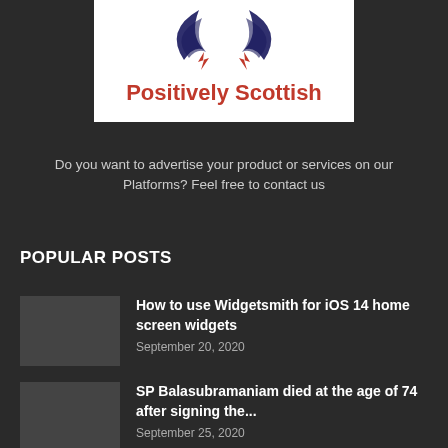[Figure (logo): Positively Scottish logo with stylized wing/bird design in navy blue and red above the text 'Positively Scottish' in bold red on white background]
Do you want to advertise your product or services on our Platforms? Feel free to contact us
POPULAR POSTS
How to use Widgetsmith for iOS 14 home screen widgets
September 20, 2020
SP Balasubramaniam died at the age of 74 after signing the...
September 25, 2020